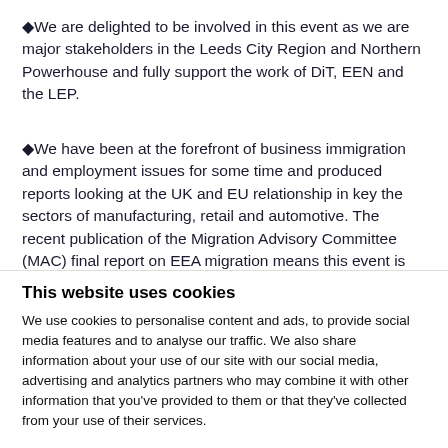❖We are delighted to be involved in this event as we are major stakeholders in the Leeds City Region and Northern Powerhouse and fully support the work of DiT, EEN and the LEP.
❖We have been at the forefront of business immigration and employment issues for some time and produced reports looking at the UK and EU relationship in key the sectors of manufacturing, retail and automotive. The recent publication of the Migration Advisory Committee (MAC) final report on EEA migration means this event is very timely.❖
The EU is the UK❖s largest trading partner. In 2017 this market accounted for 45 per cent of all UK exports. A recent LEP report...
This website uses cookies
We use cookies to personalise content and ads, to provide social media features and to analyse our traffic. We also share information about your use of our site with our social media, advertising and analytics partners who may combine it with other information that you've provided to them or that they've collected from your use of their services.